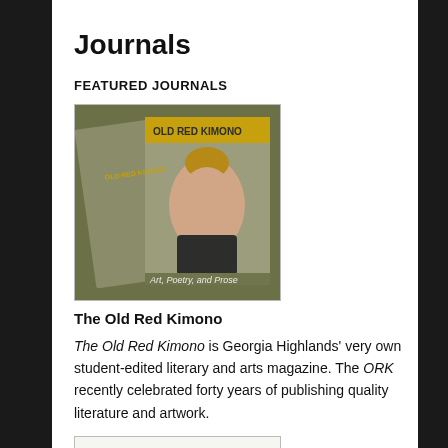Journals
FEATURED JOURNALS
[Figure (photo): Cover of The Old Red Kimono literary magazine showing a woman with an updo hairstyle, title text 'OLD RED KIMONO' visible, subtitle text 'Art, Poetry, and Prose' at bottom]
The Old Red Kimono
The Old Red Kimono is Georgia Highlands' very own student-edited literary and arts magazine. The ORK recently celebrated forty years of publishing quality literature and artwork.
[Figure (photo): Cover of The Georgia Review literary journal showing stylized large text 'THE GEORGIA REVIEW']